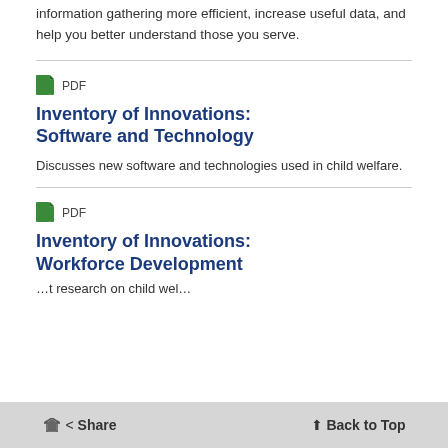Learn about applications that can make information gathering more efficient, increase useful data, and help you better understand those you serve.
PDF
Inventory of Innovations: Software and Technology
Discusses new software and technologies used in child welfare.
PDF
Inventory of Innovations: Workforce Development
…t research on child wel…
Share   Back to Top